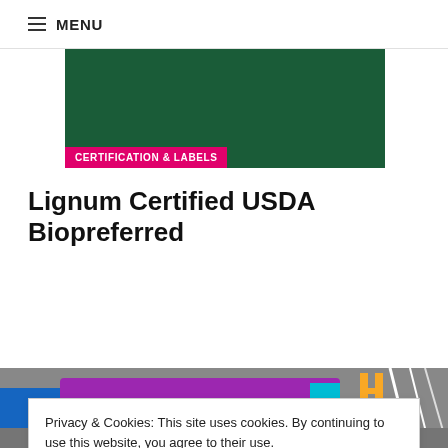≡ MENU
[Figure (screenshot): Dark green banner with pink 'CERTIFICATION & LABELS' badge overlaid on lower left]
Lignum Certified USDA Biopreferred
Privacy & Cookies: This site uses cookies. By continuing to use this website, you agree to their use.
To find out more, including how to control cookies, see here: Cookie Policy
Close and accept
[Figure (photo): Industrial facility 3D model or photograph showing colorful pipes and structural steelwork in blue, purple, yellow and white]